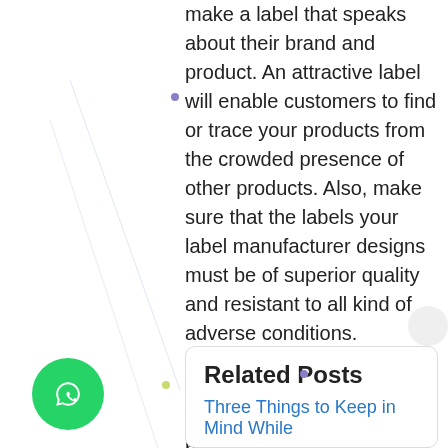make a label that speaks about their brand and product. An attractive label will enable customers to find or trace your products from the crowded presence of other products. Also, make sure that the labels your label manufacturer designs must be of superior quality and resistant to all kind of adverse conditions. Therefore we at PB Holotech enhance your brand and product identity by blending technology with our design expertise. PB Holotech is the leading label manufacturer and stickers in Eastern India for plastic bottles, utensils, cosmetic containers etc.
Posted on 19th Dec, 2020
Related Posts
Three Things to Keep in Mind While